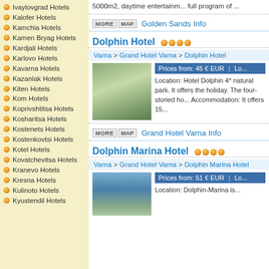Ivaylovgrad Hotels
Kalofer Hotels
Kamchia Hotels
Kamen Bryag Hotels
Kardjali Hotels
Karlovo Hotels
Kavarna Hotels
Kazanlak Hotels
Kiten Hotels
Kom Hotels
Koprivshtitsa Hotels
Kosharitsa Hotels
Kostenets Hotels
Kostenkovtsi Hotels
Kotel Hotels
Kovatchevitsa Hotels
Kranevo Hotels
Kresna Hotels
Kulinoto Hotels
Kyustendil Hotels
5000m2, daytime entertainment, full program of ...
Golden Sands Info
Dolphin Hotel ****
Varna > Grand Hotel Varna > Dolphin Hotel
Prices from: 45 € EUR | Lo...
Location: Hotel Dolphin 4* natural park. It offers the holiday. The four-storied ho... Accommodation: It offers 15...
Grand Hotel Varna Info
Dolphin Marina Hotel ****
Varna > Grand Hotel Varna > Dolphin Marina Hotel
Prices from: 51 € EUR | Lo...
Location: Dolphin-Marina is...